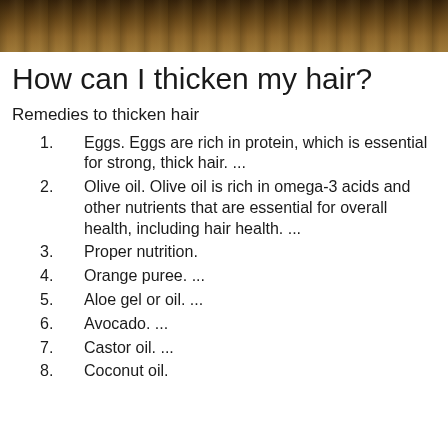[Figure (photo): Photo of hair or nature scene with dark brown and golden tones, cropped strip at top of page]
How can I thicken my hair?
Remedies to thicken hair
Eggs. Eggs are rich in protein, which is essential for strong, thick hair. ...
Olive oil. Olive oil is rich in omega-3 acids and other nutrients that are essential for overall health, including hair health. ...
Proper nutrition.
Orange puree. ...
Aloe gel or oil. ...
Avocado. ...
Castor oil. ...
Coconut oil.